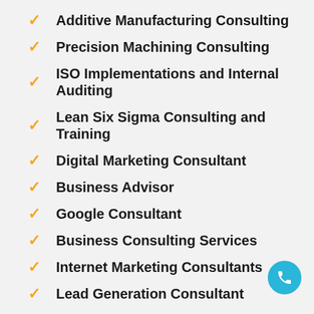Additive Manufacturing Consulting
Precision Machining Consulting
ISO Implementations and Internal Auditing
Lean Six Sigma Consulting and Training
Digital Marketing Consultant
Business Advisor
Google Consultant
Business Consulting Services
Internet Marketing Consultants
Lead Generation Consultant
Management Consultant
SEO Consultant